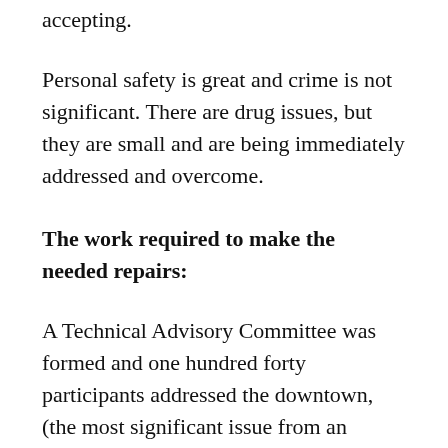accepting.
Personal safety is great and crime is not significant. There are drug issues, but they are small and are being immediately addressed and overcome.
The work required to make the needed repairs:
A Technical Advisory Committee was formed and one hundred forty participants addressed the downtown, (the most significant issue from an income perspective). They made recommendations in a seventy page report, which I authored, suggesting the needed ratios of occupancies, green space, and parking. They